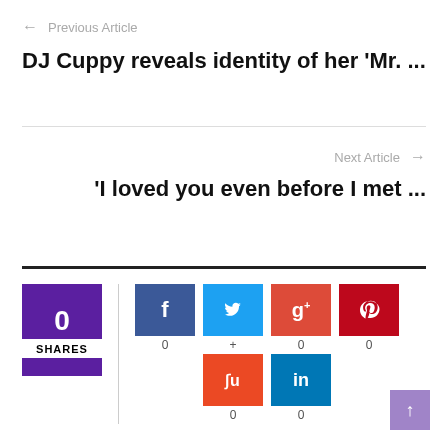← Previous Article
DJ Cuppy reveals identity of her 'Mr. ...
Next Article →
'I loved you even before I met ...
[Figure (infographic): Social share counter with 0 total shares, and social media buttons for Facebook (0), Twitter (+), Google+ (0), Pinterest (0), StumbleUpon (0), LinkedIn (0)]